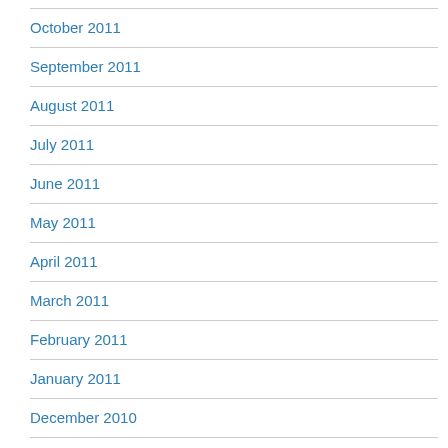October 2011
September 2011
August 2011
July 2011
June 2011
May 2011
April 2011
March 2011
February 2011
January 2011
December 2010
November 2010
October 2010
September 2010